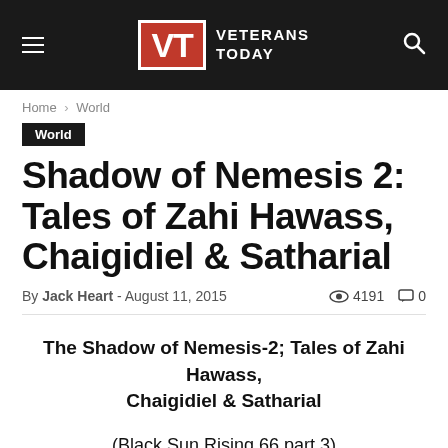Veterans Today
Home › World
World
Shadow of Nemesis 2: Tales of Zahi Hawass, Chaigidiel & Satharial
By Jack Heart - August 11, 2015  ● 4191  💬 0
The Shadow of Nemesis-2; Tales of Zahi Hawass, Chaigidiel & Satharial
(Black Sun Rising 66 part 3)
By Jack Heart & Orage